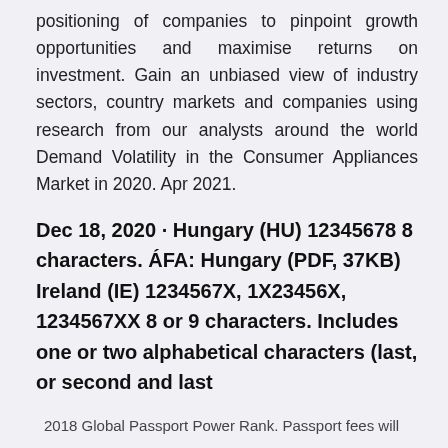positioning of companies to pinpoint growth opportunities and maximise returns on investment. Gain an unbiased view of industry sectors, country markets and companies using research from our analysts around the world Demand Volatility in the Consumer Appliances Market in 2020. Apr 2021.
Dec 18, 2020 · Hungary (HU) 12345678 8 characters. ÁFA: Hungary (PDF, 37KB) Ireland (IE) 1234567X, 1X23456X, 1234567XX 8 or 9 characters. Includes one or two alphabetical characters (last, or second and last
2018 Global Passport Power Rank. Passport fees will